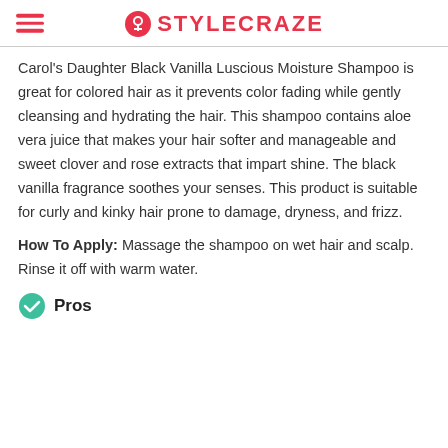STYLECRAZE
Carol's Daughter Black Vanilla Luscious Moisture Shampoo is great for colored hair as it prevents color fading while gently cleansing and hydrating the hair. This shampoo contains aloe vera juice that makes your hair softer and manageable and sweet clover and rose extracts that impart shine. The black vanilla fragrance soothes your senses. This product is suitable for curly and kinky hair prone to damage, dryness, and frizz.
How To Apply: Massage the shampoo on wet hair and scalp. Rinse it off with warm water.
Pros